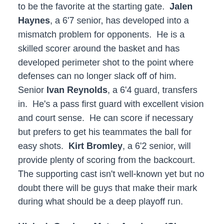to be the favorite at the starting gate. Jalen Haynes, a 6'7 senior, has developed into a mismatch problem for opponents. He is a skilled scorer around the basket and has developed perimeter shot to the point where defenses can no longer slack off of him. Senior Ivan Reynolds, a 6'4 guard, transfers in. He's a pass first guard with excellent vision and court sense. He can score if necessary but prefers to get his teammates the ball for easy shots. Kirt Bromley, a 6'2 senior, will provide plenty of scoring from the backcourt. The supporting cast isn't well-known yet but no doubt there will be guys that make their mark during what should be a deep playoff run.
Hialeah Gardens Mater Academy (Class 6A, Region 4, District 16)
“Mater” had quite on off-season as they dominated nearly every team camp and summer league they participated in